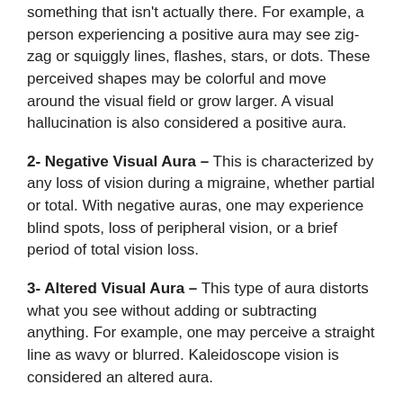something that isn't actually there. For example, a person experiencing a positive aura may see zig-zag or squiggly lines, flashes, stars, or dots. These perceived shapes may be colorful and move around the visual field or grow larger. A visual hallucination is also considered a positive aura.
2- Negative Visual Aura – This is characterized by any loss of vision during a migraine, whether partial or total. With negative auras, one may experience blind spots, loss of peripheral vision, or a brief period of total vision loss.
3- Altered Visual Aura – This type of aura distorts what you see without adding or subtracting anything. For example, one may perceive a straight line as wavy or blurred. Kaleidoscope vision is considered an altered aura.